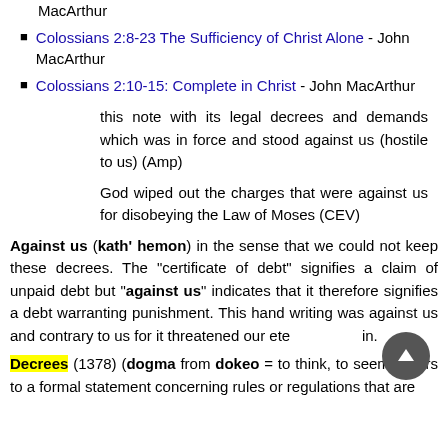MacArthur
Colossians 2:8-23 The Sufficiency of Christ Alone - John MacArthur
Colossians 2:10-15: Complete in Christ - John MacArthur
this note with its legal decrees and demands which was in force and stood against us (hostile to us) (Amp)
God wiped out the charges that were against us for disobeying the Law of Moses (CEV)
Against us (kath' hemon) in the sense that we could not keep these decrees. The "certificate of debt" signifies a claim of unpaid debt but "against us" indicates that it therefore signifies a debt warranting punishment. This hand writing was against us and contrary to us for it threatened our eter...in.
Decrees (1378) (dogma from dokeo = to think, to seem) refers to a formal statement concerning rules or regulations that are